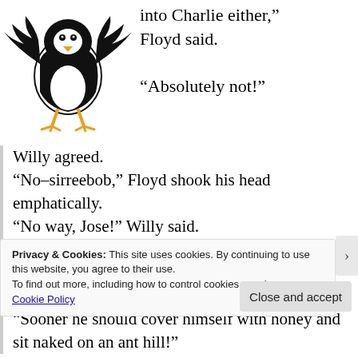[Figure (illustration): Cartoon bird character (black and white bird with orange/yellow feet, spread wings) positioned in the top-left of the page.]
into Charlie either," Floyd said.

"Absolutely not!"
Willy agreed.
"No–sirreebob," Floyd shook his head emphatically.
"No way, Jose!" Willy said.
"Under no circumstances!"
"He'd be real sorry."
"Might as well just throw himself off a cliff!"
"Sooner he should cover himself with honey and sit naked on an ant hill!"
Privacy & Cookies: This site uses cookies. By continuing to use this website, you agree to their use.
To find out more, including how to control cookies, see here:
Cookie Policy
Close and accept